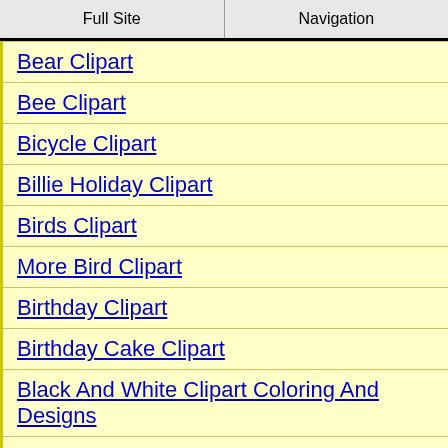Full Site | Navigation
Bear Clipart
Bee Clipart
Bicycle Clipart
Billie Holiday Clipart
Birds Clipart
More Bird Clipart
Birthday Clipart
Birthday Cake Clipart
Black And White Clipart Coloring And Designs
Book Clipart
Borders Clipart